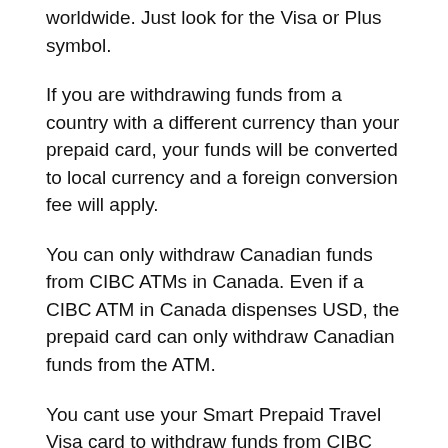worldwide. Just look for the Visa or Plus symbol.
If you are withdrawing funds from a country with a different currency than your prepaid card, your funds will be converted to local currency and a foreign conversion fee will apply.
You can only withdraw Canadian funds from CIBC ATMs in Canada. Even if a CIBC ATM in Canada dispenses USD, the prepaid card can only withdraw Canadian funds from the ATM.
You cant use your Smart Prepaid Travel Visa card to withdraw funds from CIBC multi-currency ATMs in Canada.
Note: You cant get cash back from a merchant or ask for cash advances.
No. Even with the U.S. dollar CIBC Smart Prepaid Travel Visa